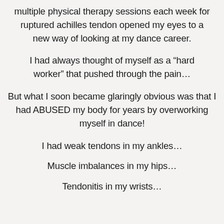multiple physical therapy sessions each week for ruptured achilles tendon opened my eyes to a new way of looking at my dance career.
I had always thought of myself as a “hard worker” that pushed through the pain…
But what I soon became glaringly obvious was that I had ABUSED my body for years by overworking myself in dance!
I had weak tendons in my ankles…
Muscle imbalances in my hips…
Tendonitis in my wrists…